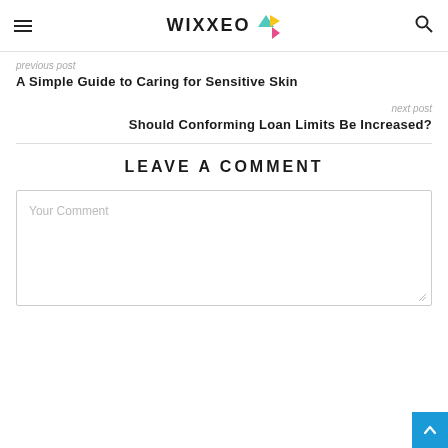WIXXEO
previous post
A Simple Guide to Caring for Sensitive Skin
next post
Should Conforming Loan Limits Be Increased?
LEAVE A COMMENT
Your Comment